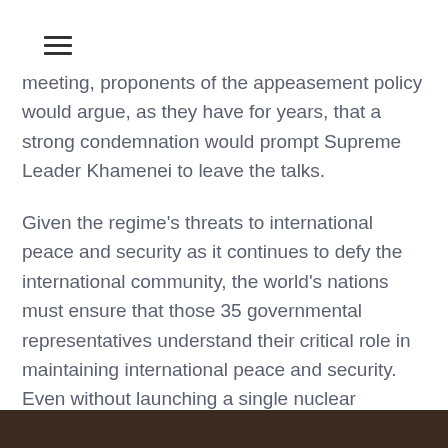☰
meeting, proponents of the appeasement policy would argue, as they have for years, that a strong condemnation would prompt Supreme Leader Khamenei to leave the talks.
Given the regime's threats to international peace and security as it continues to defy the international community, the world's nations must ensure that those 35 governmental representatives understand their critical role in maintaining international peace and security. Even without launching a single nuclear weapon, the bloody war in Ukraine, the destruction of its cities, and the displacement of seven million people demonstrate what a nuclear-armed tyrant state can do.
[Figure (photo): Dark brown/black image strip at the bottom of the page]